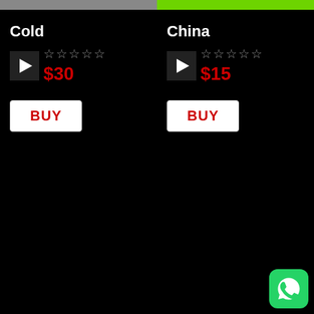Cold
$30
BUY
China
$15
BUY
[Figure (logo): WhatsApp logo icon in bottom right corner]